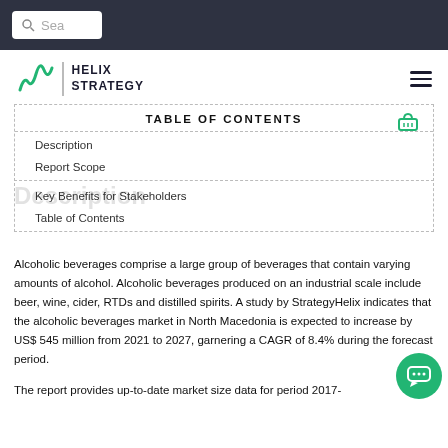Sea (search bar)
[Figure (logo): Helix Strategy logo with green icon and text HELIX STRATEGY, hamburger menu icon on right]
TABLE OF CONTENTS
Description
Report Scope
Description
Key Benefits for Stakeholders
Table of Contents
Alcoholic beverages comprise a large group of beverages that contain varying amounts of alcohol. Alcoholic beverages produced on an industrial scale include beer, wine, cider, RTDs and distilled spirits. A study by StrategyHelix indicates that the alcoholic beverages market in North Macedonia is expected to increase by US$ 545 million from 2021 to 2027, garnering a CAGR of 8.4% during the forecast period.
The report provides up-to-date market size data for period 2017-